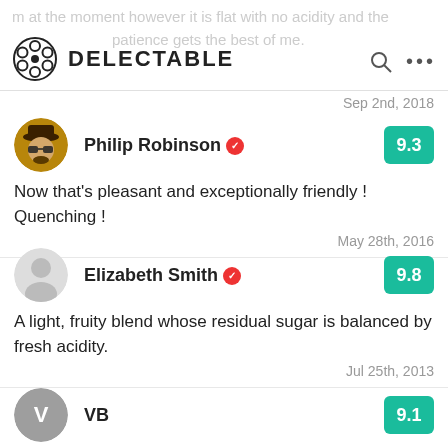DELECTABLE
Sep 2nd, 2018
Philip Robinson  9.3
Now that's pleasant and exceptionally friendly ! Quenching !
May 28th, 2016
Elizabeth Smith  9.8
A light, fruity blend whose residual sugar is balanced by fresh acidity.
Jul 25th, 2013
VB  9.1